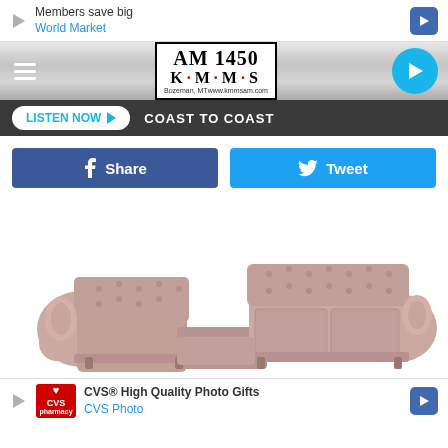[Figure (screenshot): Advertisement banner: Members save big - World Market, with navigation arrows]
[Figure (logo): AM 1450 KMMS radio station logo with site header, hamburger menu, and play button]
LISTEN NOW  COAST TO COAST
[Figure (infographic): Social sharing buttons: Facebook Share and Twitter Tweet]
[Figure (photo): Pink tufted sectional sofa (Chesterfield style) photographed on white background]
[Figure (screenshot): Advertisement banner: CVS High Quality Photo Gifts - CVS Photo]